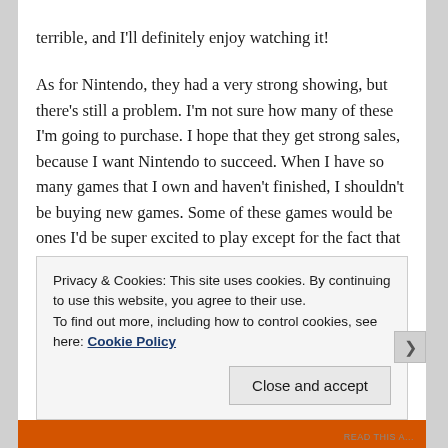terrible, and I'll definitely enjoy watching it!
As for Nintendo, they had a very strong showing, but there's still a problem. I'm not sure how many of these I'm going to purchase. I hope that they get strong sales, because I want Nintendo to succeed. When I have so many games that I own and haven't finished, I shouldn't be buying new games. Some of these games would be ones I'd be super excited to play except for the fact that they reminded me that I've already missed entries in their series I could play cheaper. I have Kirby's Dream Collection and Kirby's Epic Yarn, for example. There are also similar platformers I missed such as Donkey Kong Country Returns and Tropical Freeze (or non-Nintendo series such as Epic Mickey and its sequel).
Privacy & Cookies: This site uses cookies. By continuing to use this website, you agree to their use.
To find out more, including how to control cookies, see here: Cookie Policy